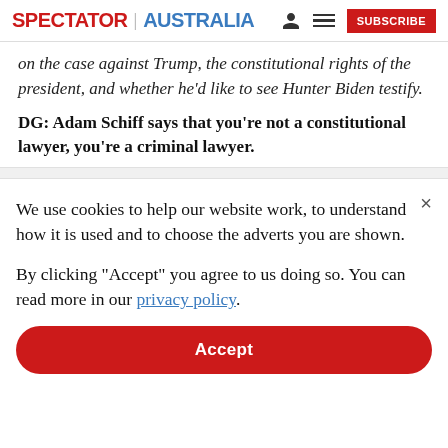SPECTATOR | AUSTRALIA
on the case against Trump, the constitutional rights of the president, and whether he'd like to see Hunter Biden testify.
DG: Adam Schiff says that you're not a constitutional lawyer, you're a criminal lawyer.
We use cookies to help our website work, to understand how it is used and to choose the adverts you are shown.
By clicking "Accept" you agree to us doing so. You can read more in our privacy policy.
Accept